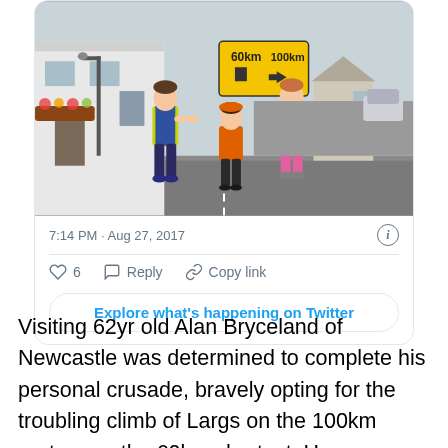[Figure (screenshot): Embedded tweet screenshot showing three children in high-visibility vests holding a yellow directional sign showing '60km' with an up arrow and '100km' with a right arrow, standing on a village street. Tweet timestamp: 7:14 PM · Aug 27, 2017. Actions: heart (6), Reply, Copy link. Button: Explore what's happening on Twitter.]
Visiting 62yr old Alan Bryceland of Newcastle was determined to complete his personal crusade, bravely opting for the troubling climb of Largs on the 100km route over the 60km shortcut.  He